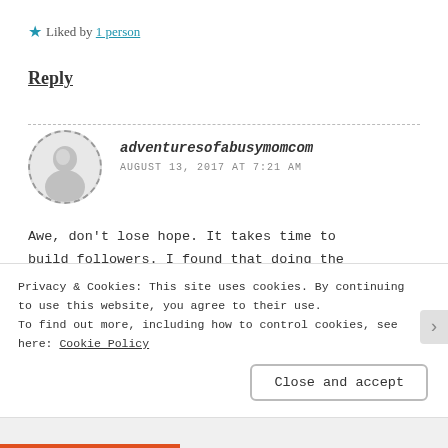★ Liked by 1 person
Reply
adventuresofabusymomcom
AUGUST 13, 2017 AT 7:21 AM
Awe, don't lose hope. It takes time to build followers. I found that doing the daily word prompts works great for
Privacy & Cookies: This site uses cookies. By continuing to use this website, you agree to their use.
To find out more, including how to control cookies, see here: Cookie Policy
Close and accept